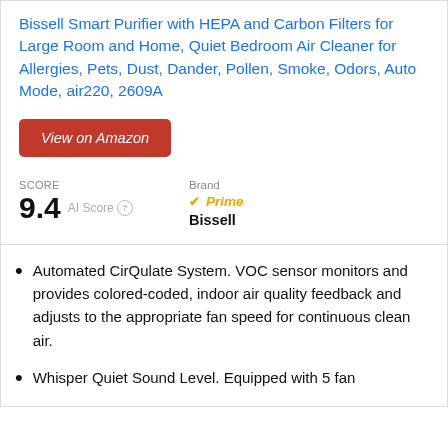Bissell Smart Purifier with HEPA and Carbon Filters for Large Room and Home, Quiet Bedroom Air Cleaner for Allergies, Pets, Dust, Dander, Pollen, Smoke, Odors, Auto Mode, air220, 2609A
View on Amazon
SCORE 9.4 AI Score
Brand Prime Bissell
Automated CirQulate System. VOC sensor monitors and provides colored-coded, indoor air quality feedback and adjusts to the appropriate fan speed for continuous clean air.
Whisper Quiet Sound Level. Equipped with 5 fan